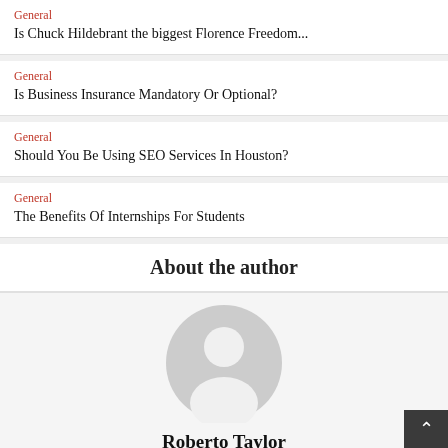General
Is Chuck Hildebrant the biggest Florence Freedom...
General
Is Business Insurance Mandatory Or Optional?
General
Should You Be Using SEO Services In Houston?
General
The Benefits Of Internships For Students
About the author
[Figure (illustration): Generic user avatar placeholder icon — grey circle with white silhouette of a person]
Roberto Taylor